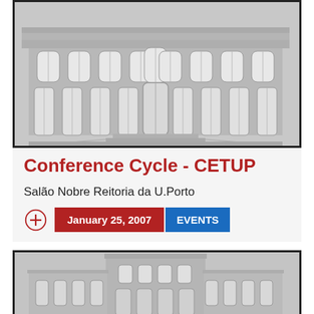[Figure (illustration): Stylized gray illustration of a classical university building facade (Reitoria da U.Porto) inside a dark border frame, upper half cropped]
Conference Cycle - CETUP
Salão Nobre Reitoria da U.Porto
January 25, 2007   EVENTS
[Figure (illustration): Partial stylized gray illustration of a second classical building facade, bottom of page, cropped]